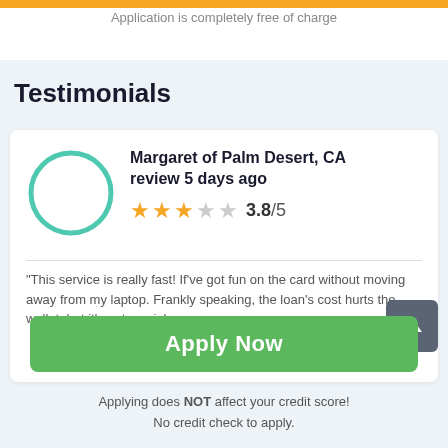Application is completely free of charge
Testimonials
Margaret of Palm Desert, CA review 5 days ago
3.8/5
"This service is really fast! If've got fun on the card without moving away from my laptop. Frankly speaking, the loan's cost hurts the wallet, but it's not crucial
Apply Now
Applying does NOT affect your credit score!
No credit check to apply.